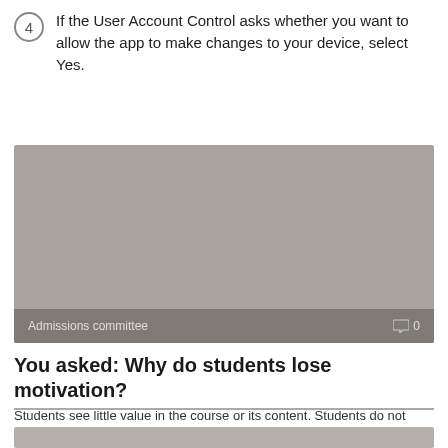4 If the User Account Control asks whether you want to allow the app to make changes to your device, select Yes.
[Figure (screenshot): Screenshot placeholder (grey box) with footer showing 'Admissions committee' label and a comment icon with '0']
You asked: Why do students lose motivation?
Students see little value in the course or its content. Students do not believe
[Figure (screenshot): Partial screenshot at the bottom of the page (cropped grey box)]